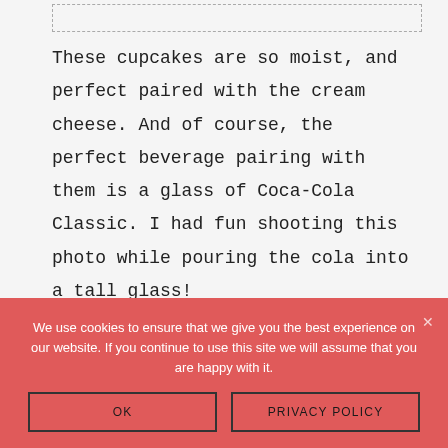[Figure (other): Dashed rectangle placeholder box at top of page]
These cupcakes are so moist, and perfect paired with the cream cheese. And of course, the perfect beverage pairing with them is a glass of Coca-Cola Classic. I had fun shooting this photo while pouring the cola into a tall glass!
[Figure (photo): Partial photo showing Coca-Cola bottle and glass with cola being poured, red and dark tones]
We use cookies to ensure that we give you the best experience on our website. If you continue to use this site we will assume that you are happy with it.
OK
PRIVACY POLICY